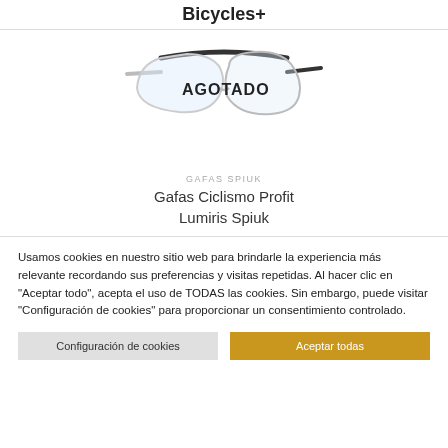Bicycles+
[Figure (illustration): White cycling sunglasses with AGOTADO (out of stock) label overlaid]
GAFAS SPIUK
Gafas Ciclismo Profit Lumiris Spiuk
Usamos cookies en nuestro sitio web para brindarle la experiencia más relevante recordando sus preferencias y visitas repetidas. Al hacer clic en "Aceptar todo", acepta el uso de TODAS las cookies. Sin embargo, puede visitar "Configuración de cookies" para proporcionar un consentimiento controlado.
Configuración de cookies
Aceptar todas